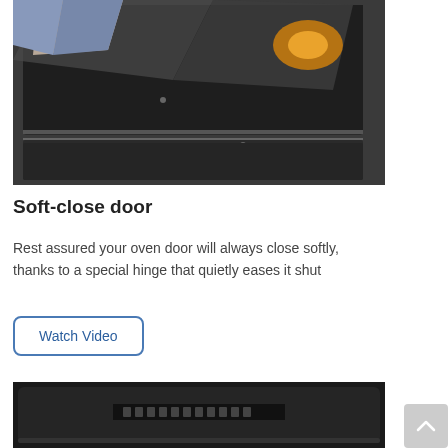[Figure (photo): A hand opening a modern oven with a soft-close door, showing the dark glass panel tilted open with oven interior light visible]
Soft-close door
Rest assured your oven door will always close softly, thanks to a special hinge that quietly eases it shut
[Figure (other): Watch Video button with rounded rectangle border]
[Figure (photo): Close-up bottom portion of a dark oven door with brand lettering visible]